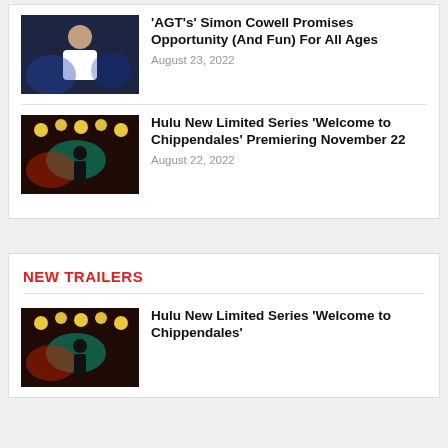[Figure (photo): Simon Cowell in white shirt, dark background with blue lighting]
'AGT's' Simon Cowell Promises Opportunity (And Fun) For All Ages
August 23, 2022
[Figure (photo): Performer on stage with bright spotlights and colorful lights - Chippendales promotional image]
Hulu New Limited Series 'Welcome to Chippendales' Premiering November 22
August 22, 2022
NEW TRAILERS
[Figure (photo): Chippendales stage show with bright lights - Hulu series promotional image]
Hulu New Limited Series 'Welcome to Chippendales'